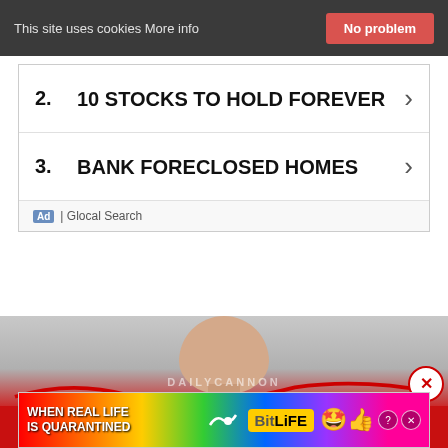This site uses cookies More info | No problem
2. 10 STOCKS TO HOLD FOREVER ›
3. BANK FORECLOSED HOMES ›
Ad | Glocal Search
[Figure (photo): Soccer/football player photo with DAILYCANNON watermark and WINDOW text banner overlay, with red swirl decoration and close button]
[Figure (infographic): BitLife advertisement: WHEN REAL LIFE IS QUARANTINED BitLife with rainbow gradient background and emoji icons]